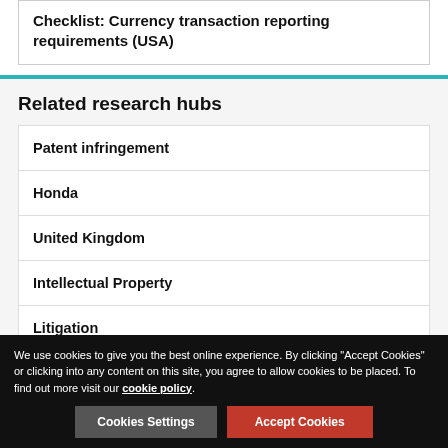Checklist: Currency transaction reporting requirements (USA)
Related research hubs
Patent infringement
Honda
United Kingdom
Intellectual Property
Litigation
We use cookies to give you the best online experience. By clicking "Accept Cookies" or clicking into any content on this site, you agree to allow cookies to be placed. To find out more visit our cookie policy.